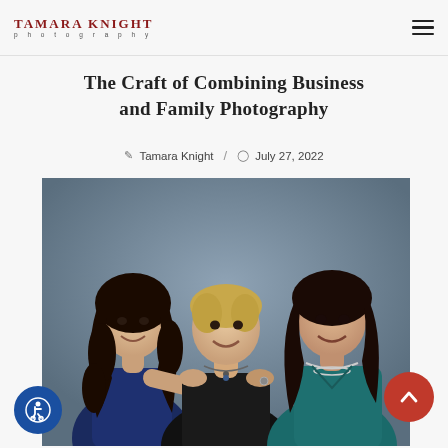TAMARA KNIGHT photography
The Craft of Combining Business and Family Photography
Tamara Knight / July 27, 2022
[Figure (photo): Three women posing together in a studio portrait: a young woman with long curly dark hair in a navy dress on the left, an older woman with short blonde hair in a black top seated in the center, and a middle-aged woman with dark hair in a teal wrap top on the right. The background is a muted blue-grey.]